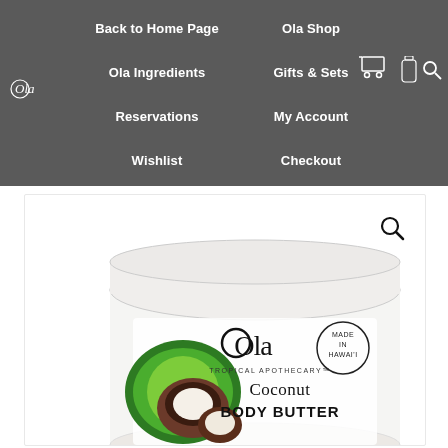Ola (logo)
Back to Home Page
Ola Shop
Ola Ingredients
Gifts & Sets
Reservations
My Account
Wishlist
Checkout
[Figure (photo): Ola Tropical Apothecary Coconut Body Butter product jar - white jar with label showing coconut illustration, Ola logo, Made in Hawaii badge, text reads Coconut BODY BUTTER]